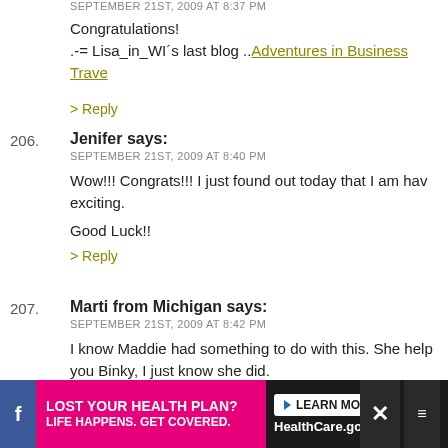SEPTEMBER 21ST, 2009 AT 8:37 PM
Congratulations!
.-= Lisa_in_WI´s last blog ..Adventures in Business Trave
> Reply
206. Jenifer says:
SEPTEMBER 21ST, 2009 AT 8:40 PM
Wow!!! Congrats!!! I just found out today that I am hav exciting.
Good Luck!!
> Reply
207. Marti from Michigan says:
SEPTEMBER 21ST, 2009 AT 8:42 PM
I know Maddie had something to do with this. She help you Binky, I just know she did.
Congratulations for a sweet little shy girl. Precious. Gir their daddy's eye!
[Figure (screenshot): Advertisement banner: LOST YOUR HEALTH PLAN? LIFE HAPPENS. GET COVERED. LEARN MORE HealthCare.gov]